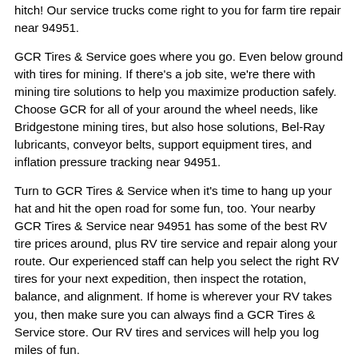hitch! Our service trucks come right to you for farm tire repair near 94951.
GCR Tires & Service goes where you go. Even below ground with tires for mining. If there's a job site, we're there with mining tire solutions to help you maximize production safely. Choose GCR for all of your around the wheel needs, like Bridgestone mining tires, but also hose solutions, Bel-Ray lubricants, conveyor belts, support equipment tires, and inflation pressure tracking near 94951.
Turn to GCR Tires & Service when it's time to hang up your hat and hit the open road for some fun, too. Your nearby GCR Tires & Service near 94951 has some of the best RV tire prices around, plus RV tire service and repair along your route. Our experienced staff can help you select the right RV tires for your next expedition, then inspect the rotation, balance, and alignment. If home is wherever your RV takes you, then make sure you can always find a GCR Tires & Service store. Our RV tires and services will help you log miles of fun.
When it comes to buying affordable commercial tires, few other tire companies offer the same variety of tires and services as GCR.